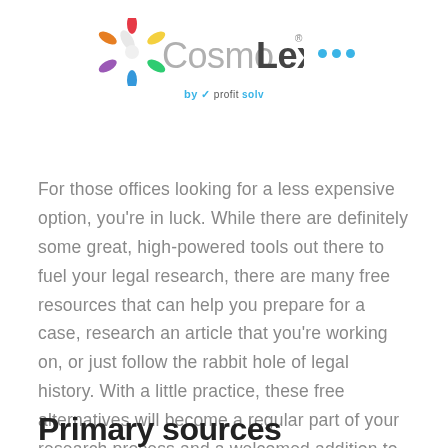[Figure (logo): CosmoLex by ProfitSolv logo with colorful flower/snowflake icon, grey 'Cosmo' text, dark grey 'Lex' text, three blue dots, and 'by profitsolv' tagline below]
For those offices looking for a less expensive option, you're in luck. While there are definitely some great, high-powered tools out there to fuel your legal research, there are many free resources that can help you prepare for a case, research an article that you're working on, or just follow the rabbit hole of legal history. With a little practice, these free alternatives will become a regular part of your research process and a welcomed addition to your arsenal of tools.
Primary sources